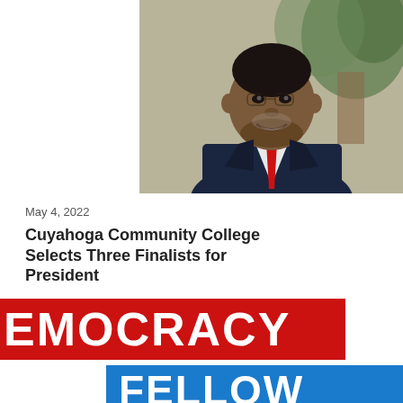[Figure (photo): Headshot of a smiling Black man in a dark navy suit with a red tie, seated in front of green plants]
May 4, 2022
Cuyahoga Community College Selects Three Finalists for President
[Figure (logo): Democracy Fellow logo — 'EMOCRACY' in white text on a red rectangle bar, and 'FELLOW' in white text on a blue rectangle bar below, partially cropped]